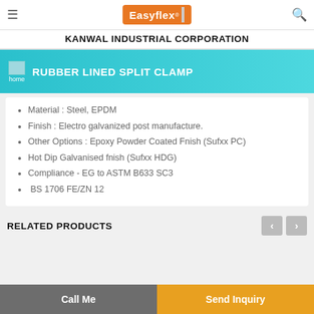Easyflex | KANWAL INDUSTRIAL CORPORATION
RUBBER LINED SPLIT CLAMP
Material : Steel, EPDM
Finish : Electro galvanized post manufacture.
Other Options : Epoxy Powder Coated Fnish (Sufxx PC)
Hot Dip Galvanised fnish (Sufxx HDG)
Compliance - EG to ASTM B633 SC3
BS 1706 FE/ZN 12
RELATED PRODUCTS
Call Me | Send Inquiry